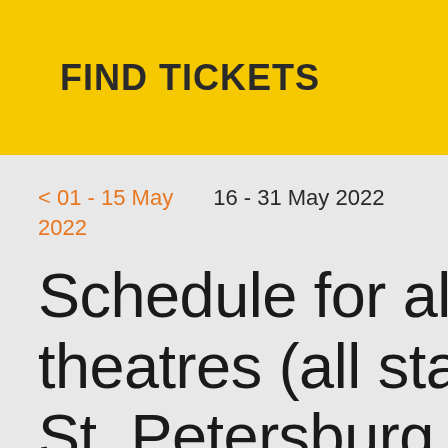FIND TICKETS
< 01 - 15 May 2022
16 - 31 May 2022
Schedule for all theatres (all stages), St. Petersburg, Russia, 16 - 31 May 2022